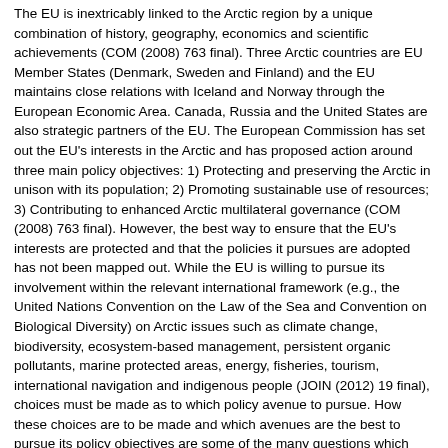The EU is inextricably linked to the Arctic region by a unique combination of history, geography, economics and scientific achievements (COM (2008) 763 final). Three Arctic countries are EU Member States (Denmark, Sweden and Finland) and the EU maintains close relations with Iceland and Norway through the European Economic Area. Canada, Russia and the United States are also strategic partners of the EU. The European Commission has set out the EU's interests in the Arctic and has proposed action around three main policy objectives: 1) Protecting and preserving the Arctic in unison with its population; 2) Promoting sustainable use of resources; 3) Contributing to enhanced Arctic multilateral governance (COM (2008) 763 final). However, the best way to ensure that the EU's interests are protected and that the policies it pursues are adopted has not been mapped out. While the EU is willing to pursue its involvement within the relevant international framework (e.g., the United Nations Convention on the Law of the Sea and Convention on Biological Diversity) on Arctic issues such as climate change, biodiversity, ecosystem-based management, persistent organic pollutants, marine protected areas, energy, fisheries, tourism, international navigation and indigenous people (JOIN (2012) 19 final), choices must be made as to which policy avenue to pursue. How these choices are to be made and which avenues are the best to pursue its policy objectives are some of the many questions which have yet to be fully addressed by scholars.
Call for abstracts
This conference will bring together academics and practitioners from relevant disciplines such as international law, international relations,